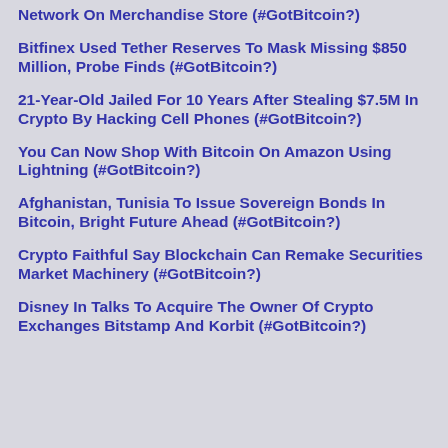Network On Merchandise Store (#GotBitcoin?)
Bitfinex Used Tether Reserves To Mask Missing $850 Million, Probe Finds (#GotBitcoin?)
21-Year-Old Jailed For 10 Years After Stealing $7.5M In Crypto By Hacking Cell Phones (#GotBitcoin?)
You Can Now Shop With Bitcoin On Amazon Using Lightning (#GotBitcoin?)
Afghanistan, Tunisia To Issue Sovereign Bonds In Bitcoin, Bright Future Ahead (#GotBitcoin?)
Crypto Faithful Say Blockchain Can Remake Securities Market Machinery (#GotBitcoin?)
Disney In Talks To Acquire The Owner Of Crypto Exchanges Bitstamp And Korbit (#GotBitcoin?)